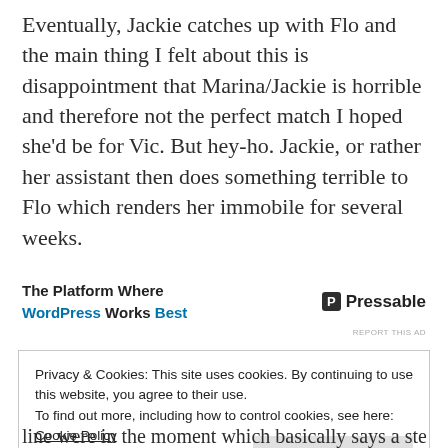Eventually, Jackie catches up with Flo and the main thing I felt about this is disappointment that Marina/Jackie is horrible and therefore not the perfect match I hoped she'd be for Vic. But hey-ho. Jackie, or rather her assistant then does something terrible to Flo which renders her immobile for several weeks.
[Figure (other): Advertisement for Pressable: 'The Platform Where WordPress Works Best' with Pressable logo]
Privacy & Cookies: This site uses cookies. By continuing to use this website, you agree to their use.
To find out more, including how to control cookies, see here:
Cookie Policy
Close and accept
line were in the moment which basically says a step